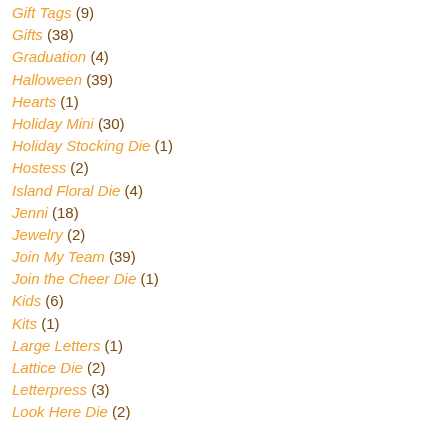Gift Tags (9)
Gifts (38)
Graduation (4)
Halloween (39)
Hearts (1)
Holiday Mini (30)
Holiday Stocking Die (1)
Hostess (2)
Island Floral Die (4)
Jenni (18)
Jewelry (2)
Join My Team (39)
Join the Cheer Die (1)
Kids (6)
Kits (1)
Large Letters (1)
Lattice Die (2)
Letterpress (3)
Look Here Die (2)